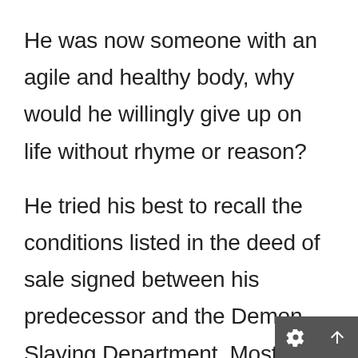He was now someone with an agile and healthy body, why would he willingly give up on life without rhyme or reason?

He tried his best to recall the conditions listed in the deed of sale signed between his predecessor and the Demon Slaying Department. Most of the words on the deed were foreign to him, but the wordings of the Great Qian dynasty were very similar to the ancient Chinese characters, so with some guessing, he was able to make out most of the